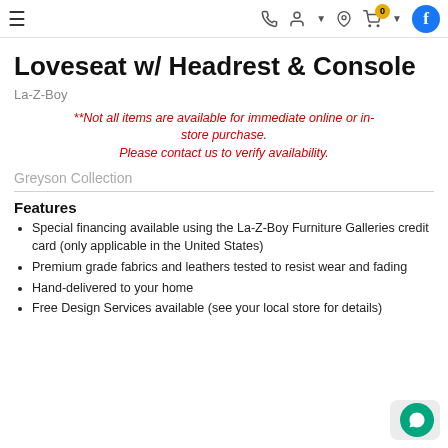≡  📞  👤+▾  📍  🛒 0 ▾  f
Loveseat w/ Headrest & Console
La-Z-Boy
**Not all items are available for immediate online or in-store purchase. Please contact us to verify availability.
Greyson Collection
Features
Special financing available using the La-Z-Boy Furniture Galleries credit card (only applicable in the United States)
Premium grade fabrics and leathers tested to resist wear and fading
Hand-delivered to your home
Free Design Services available (see your local store for details)